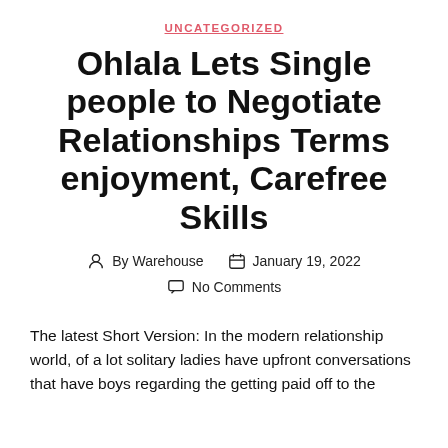UNCATEGORIZED
Ohlala Lets Single people to Negotiate Relationships Terms enjoyment, Carefree Skills
By Warehouse   January 19, 2022   No Comments
The latest Short Version: In the modern relationship world, of a lot solitary ladies have upfront conversations that have boys regarding the getting paid off to the